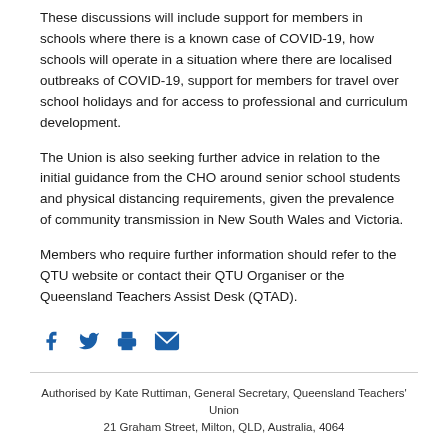These discussions will include support for members in schools where there is a known case of COVID-19, how schools will operate in a situation where there are localised outbreaks of COVID-19, support for members for travel over school holidays and for access to professional and curriculum development.
The Union is also seeking further advice in relation to the initial guidance from the CHO around senior school students and physical distancing requirements, given the prevalence of community transmission in New South Wales and Victoria.
Members who require further information should refer to the QTU website or contact their QTU Organiser or the Queensland Teachers Assist Desk (QTAD).
[Figure (infographic): Social share icons: Facebook, Twitter, Print, Email in blue]
Authorised by Kate Ruttiman, General Secretary, Queensland Teachers' Union
21 Graham Street, Milton, QLD, Australia, 4064